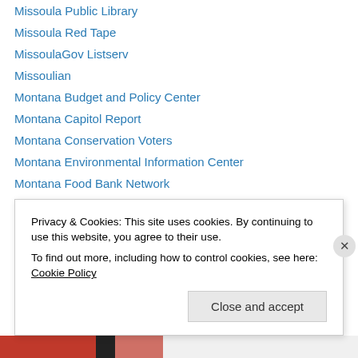Missoula Public Library
Missoula Red Tape
MissoulaGov Listserv
Missoulian
Montana Budget and Policy Center
Montana Capitol Report
Montana Conservation Voters
Montana Environmental Information Center
Montana Food Bank Network
Montana FWP Public Notices
Montana Human Rights Network
Montana Independent Living Action Alert
Montana Innocence Project
Privacy & Cookies: This site uses cookies. By continuing to use this website, you agree to their use.
To find out more, including how to control cookies, see here: Cookie Policy